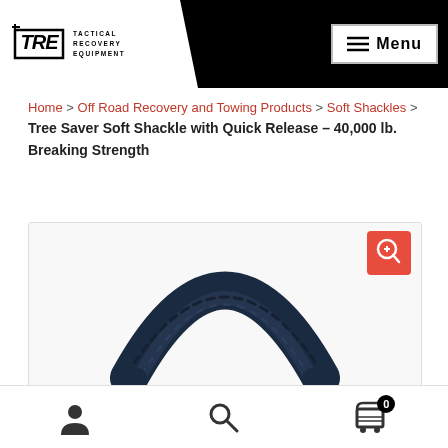[Figure (logo): TRE Tactical Recovery Equipment logo in black and white, with TRE lettered in italic bold inside a box, and text TACTICAL RECOVERY EQUIPMENT beside it]
Menu
Home > Off Road Recovery and Towing Products > Soft Shackles > Tree Saver Soft Shackle with Quick Release – 40,000 lb. Breaking Strength
[Figure (photo): Close-up product photo of a dark navy blue soft shackle rope looped in an arc shape against a white background, with a red zoom button in top right corner]